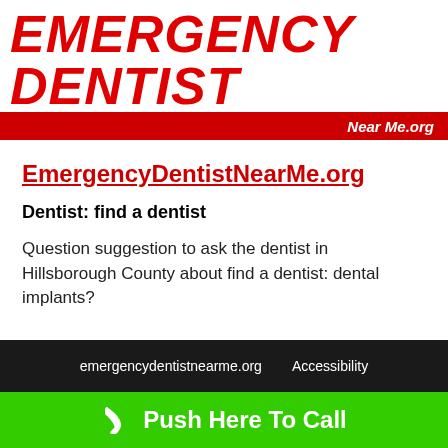EMERGENCY DENTIST Near Me.org
EmergencyDentistNearMe.org
Dentist: find a dentist
Question suggestion to ask the dentist in Hillsborough County about find a dentist: dental implants?
emergencydentistnearme.org   Accessibility
Push Here To Call